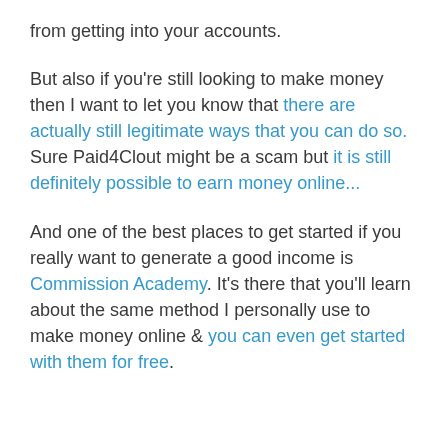from getting into your accounts.
But also if you're still looking to make money then I want to let you know that there are actually still legitimate ways that you can do so. Sure Paid4Clout might be a scam but it is still definitely possible to earn money online...
And one of the best places to get started if you really want to generate a good income is Commission Academy. It's there that you'll learn about the same method I personally use to make money online & you can even get started with them for free.